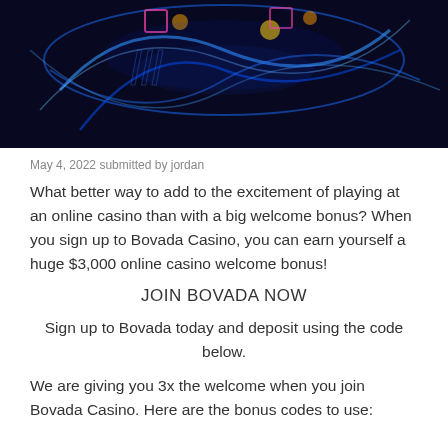[Figure (photo): Casino neon lights promotional image with blue neon glowing decorative elements on dark background]
May 4, 2022 submitted by jordan
What better way to add to the excitement of playing at an online casino than with a big welcome bonus? When you sign up to Bovada Casino, you can earn yourself a huge $3,000 online casino welcome bonus!
JOIN BOVADA NOW
Sign up to Bovada today and deposit using the code below.
We are giving you 3x the welcome when you join Bovada Casino. Here are the bonus codes to use: